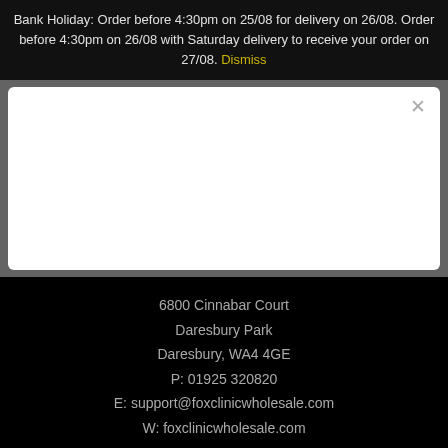Bank Holiday: Order before 4:30pm on 25/08 for delivery on 26/08. Order before 4:30pm on 26/08 with Saturday delivery to receive your order on 27/08. Dismiss
[Figure (screenshot): White modal dialog box with a close (×) button in the top right corner, displayed over a grey background.]
6800 Cinnabar Court
Daresbury Park
Daresbury, WA4 4GE
P: 01925 320820
E: support@foxclinicwholesale.com
W: foxclinicwholesale.com